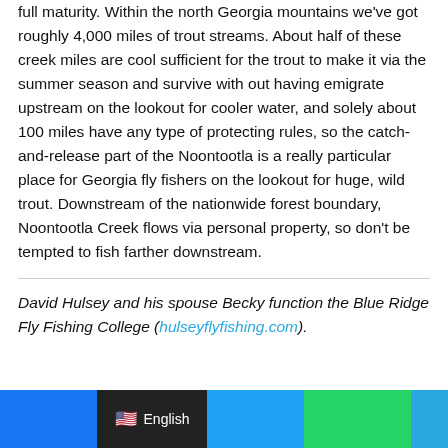full maturity. Within the north Georgia mountains we've got roughly 4,000 miles of trout streams. About half of these creek miles are cool sufficient for the trout to make it via the summer season and survive with out having emigrate upstream on the lookout for cooler water, and solely about 100 miles have any type of protecting rules, so the catch-and-release part of the Noontootla is a really particular place for Georgia fly fishers on the lookout for huge, wild trout. Downstream of the nationwide forest boundary, Noontootla Creek flows via personal property, so don't be tempted to fish farther downstream.
David Hulsey and his spouse Becky function the Blue Ridge Fly Fishing College (hulseyflyfishing.com).